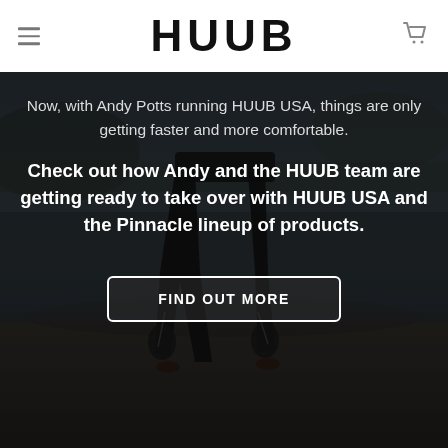HUUB
[Figure (photo): Background photo of a triathlete in a black wetsuit standing on a beach, viewed from behind/mid-section down, with dark moody tones.]
Now, with Andy Potts running HUUB USA, things are only getting faster and more comfortable.
Check out how Andy and the HUUB team are getting ready to take over with HUUB USA and the Pinnacle lineup of products.
FIND OUT MORE